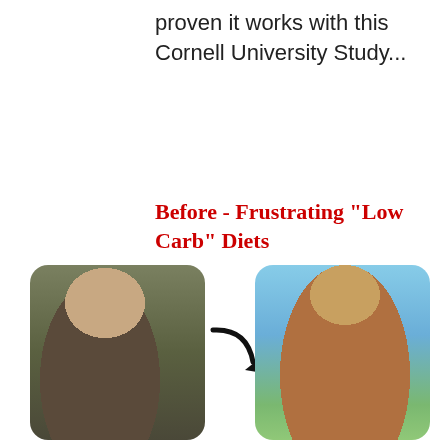proven it works with this Cornell University Study...
Before - Frustrating "Low Carb" Diets
[Figure (photo): Before and after comparison photos of a man. Left photo shows an overweight man in a dark t-shirt outdoors. A curved arrow points from left photo to right photo. Right photo shows a muscular, shirtless man wearing sunglasses holding a baby, standing on a balcony with a scenic background.]